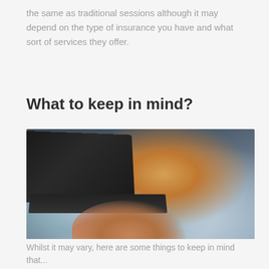the same as traditional sessions although it may depend on the type of insurance you have and what sort of services they offer.
What to keep in mind?
[Figure (photo): A person sitting cross-legged on a couch, wearing a mustard yellow top and light blue jeans, typing on a laptop. The image depicts someone engaged in an online session or consultation from home.]
Whilst it may vary, here are some things to keep in mind that...